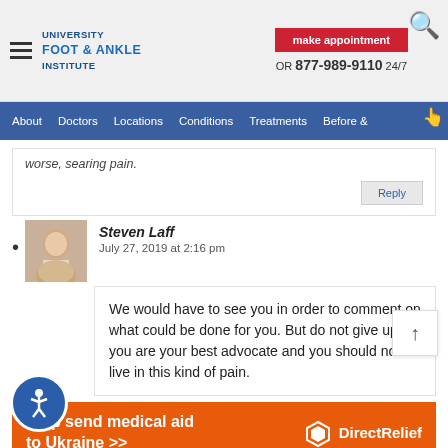University Foot & Ankle Institute | make appointment | OR 877-989-9110 24/7
About   Doctors   Locations   Conditions   Treatments   Before &
worse, searing pain.
Reply
Steven Laff
July 27, 2019 at 2:16 pm
We would have to see you in order to comment on what could be done for you. But do not give up as you are your best advocate and you should not live in this kind of pain.
[Figure (infographic): Orange Direct Relief advertisement banner: Help send medical aid to Ukraine >> Direct Relief logo]
[Figure (illustration): Circular blue accessibility icon with person figure]